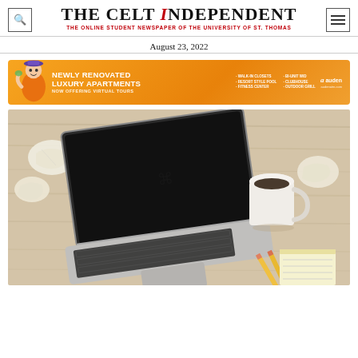THE CELT INDEPENDENT - THE ONLINE STUDENT NEWSPAPER OF THE UNIVERSITY OF ST. THOMAS
August 23, 2022
[Figure (illustration): Advertisement banner for Auden luxury apartments - orange gradient background with cartoon character, text: NEWLY RENOVATED LUXURY APARTMENTS, NOW OFFERING VIRTUAL TOURS, amenities list, Auden logo]
[Figure (photo): Overhead view of a laptop with black screen, keyboard, coffee mug, crumpled papers, pencils and yellow notepad on a light wood desk surface]